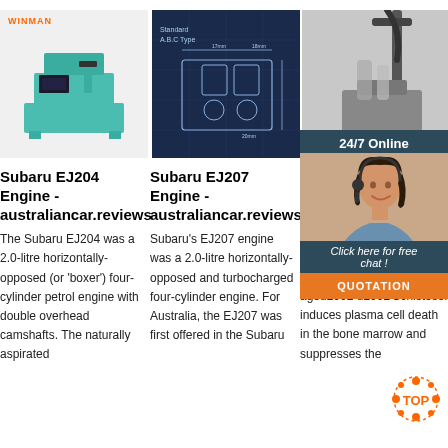[Figure (photo): WINMAN branded CNC machine tool in teal/turquoise color]
[Figure (engineering-diagram): Standard A.B.C Type equipment schematic diagram on dark blue background]
[Figure (photo): Industrial equipment with robotic arm on grey background]
[Figure (photo): 24/7 Online chat agent woman with headset, with 'Click here for free chat!' and QUOTATION button overlay]
Subaru EJ204 Engine - australiancar.reviews
The Subaru EJ204 was a 2.0-litre horizontally-opposed (or 'boxer') four-cylinder petrol engine with double overhead camshafts. The naturally aspirated
Subaru EJ207 Engine - australiancar.reviews
Subaru's EJ207 engine was a 2.0-litre horizontally-opposed and turbocharged four-cylinder engine. For Australia, the EJ207 was first offered in the Subaru
Instit Infec Disea Mole Medi
2 days agou2002·u2002'Schistosom induces plasma cell death in the bone marrow and suppresses the